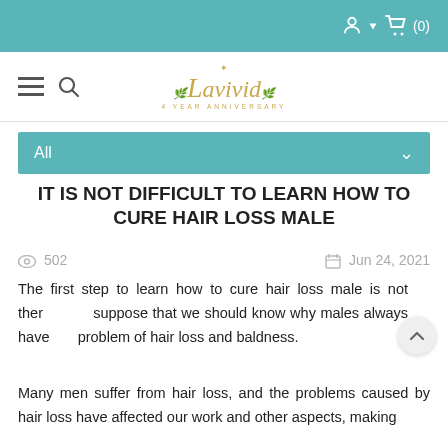Lavivid Hair - Navigation bar with account and cart icons
All
IT IS NOT DIFFICULT TO LEARN HOW TO CURE HAIR LOSS MALE
502  Jun 24, 2021
The first step to learn how to cure hair loss male is not then suppose that we should know why males always have problem of hair loss and baldness.
Many men suffer from hair loss, and the problems caused by hair loss have affected our work and other aspects, making